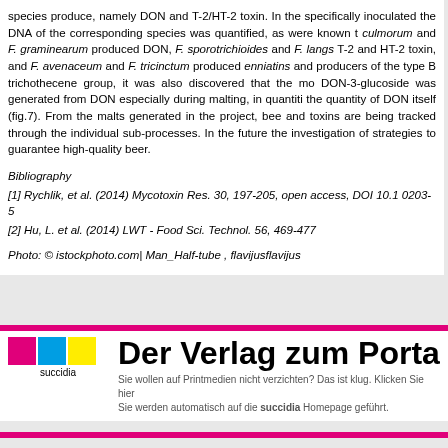species produce, namely DON and T-2/HT-2 toxin. In the specifically inoculated the DNA of the corresponding species was quantified, as were known t culmorum and F. graminearum produced DON, F. sporotrichioides and F. langs T-2 and HT-2 toxin, and F. avenaceum and F. tricinctum produced enniatins and producers of the type B trichothecene group, it was also discovered that the mo DON-3-glucoside was generated from DON especially during malting, in quantiti the quantity of DON itself (fig.7). From the malts generated in the project, bee and toxins are being tracked through the individual sub-processes. In the future the investigation of strategies to guarantee high-quality beer.
Bibliography
[1] Rychlik, et al. (2014) Mycotoxin Res. 30, 197-205, open access, DOI 10.1 0203-5
[2] Hu, L. et al. (2014) LWT - Food Sci. Technol. 56, 469-477
Photo: © istockphoto.com| Man_Half-tube , flavijusflavijus
[Figure (logo): Succidia publisher logo with colored squares (pink, blue, yellow) and text 'Der Verlag zum Porta' with tagline in German]